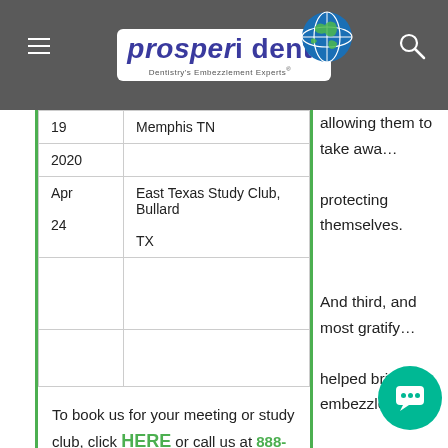Prosperident — Dentistry's Embezzlement Experts
| 19 | Memphis TN |
| 2020 |  |
| Apr
24 | East Texas Study Club, Bullard TX |
|  |  |
|  |  |
To book us for your meeting or study club, click HERE or call us at 888-398-2327.
allowing them to take away... protecting themselves.
And third, and most gratify... helped bring the embezzle... open. There was a time w... felt shameful and did not t... colleagues, or report embe... were almost no topical art... dentists with concerns.
I remember an e... aree... publication for an article th...